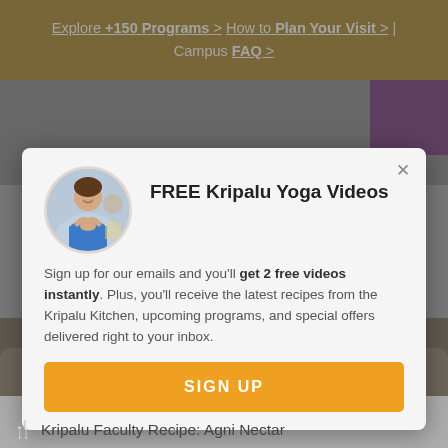Explore +150 Programs > How to Plan Your Visit > | Campus FAQ >
[Figure (screenshot): Background image of people in a yoga class (blurred/darkened)]
FREE Kripalu Yoga Videos
Sign up for our emails and you'll get 2 free videos instantly. Plus, you'll receive the latest recipes from the Kripalu Kitchen, upcoming programs, and special offers delivered right to your inbox.
SIGN UP
[Figure (photo): Background food photo (orange/yellow food item)]
Kripalu Faculty Recipe: Agni Nectar